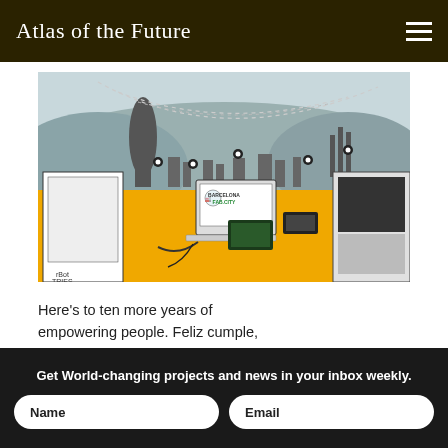Atlas of the Future
[Figure (photo): Barcelona Fab City image showing a fab lab workspace with 3D printers, laptops with Barcelona Fab.City logo, electronic components, against a stylized black and white Barcelona skyline background with yellow foreground surface.]
Here’s to ten more years of empowering people. Feliz cumple, Fab!
Get World-changing projects and news in your inbox weekly.